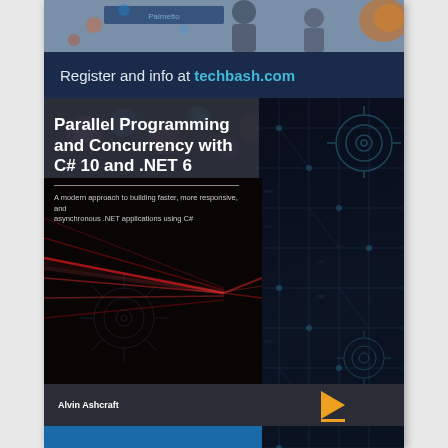[Figure (photo): Book cover image showing people at a tech conference at top, blue circuit board patterns on the right, red light streaks in the middle-bottom, with a dark overlay containing the book title]
Register and info at techbash.com
Parallel Programming and Concurrency with C# 10 and .NET 6
A modern approach to building faster, more responsive, and asynchronous .NET applications using C#
Alvin Ashcraft